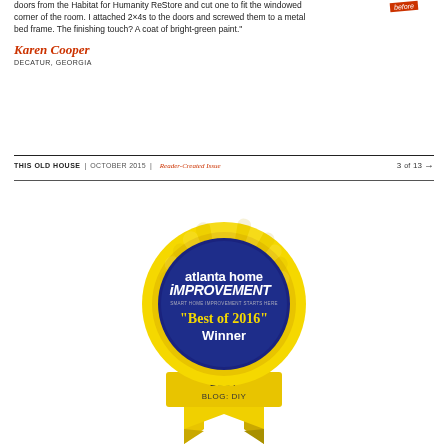doors from the Habitat for Humanity ReStore and cut one to fit the windowed corner of the room. I attached 2×4s to the doors and screwed them to a metal bed frame. The finishing touch? A coat of bright-green paint."
Karen Cooper
DECATUR, GEORGIA
THIS OLD HOUSE | OCTOBER 2015 | Reader-Created Issue   3 of 13 →
[Figure (illustration): Atlanta Home Improvement 'Best of 2016' Winner award badge/medallion in gold and blue, with ribbon reading BEST BLOG: DIY]